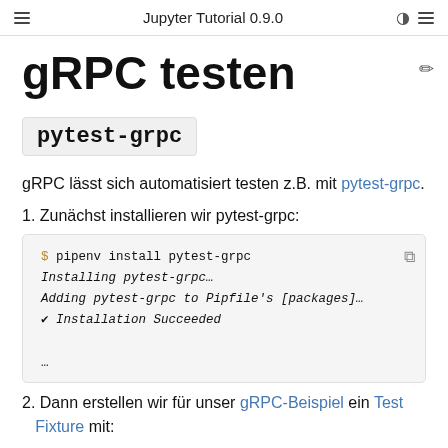Jupyter Tutorial 0.9.0
gRPC testen
pytest-grpc
gRPC lässt sich automatisiert testen z.B. mit pytest-grpc.
1. Zunächst installieren wir pytest-grpc:
$ pipenv install pytest-grpc
Installing pytest-grpc…
Adding pytest-grpc to Pipfile's [packages]…
✔ Installation Succeeded
…
2. Dann erstellen wir für unser gRPC-Beispiel ein Test Fixture mit: